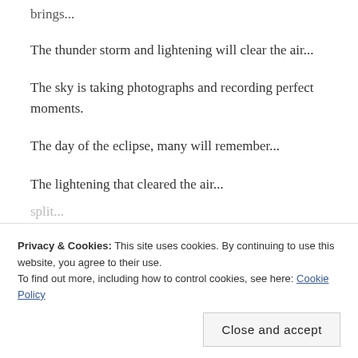brings...
The thunder storm and lightening will clear the air...
The sky is taking photographs and recording perfect moments.
The day of the eclipse, many will remember...
The lightening that cleared the air...
The sky is...
split...
Privacy & Cookies: This site uses cookies. By continuing to use this website, you agree to their use.
To find out more, including how to control cookies, see here: Cookie Policy
Close and accept